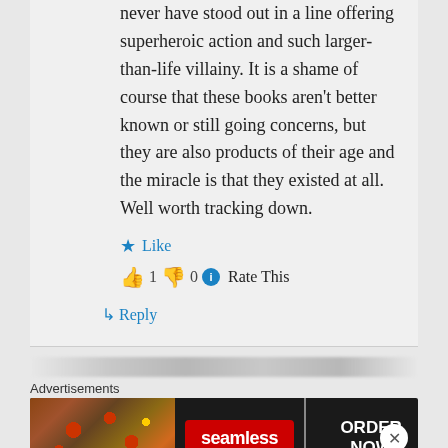never have stood out in a line offering superheroic action and such larger-than-life villainy. It is a shame of course that these books aren't better known or still going concerns, but they are also products of their age and the miracle is that they existed at all. Well worth tracking down.
★ Like
👍 1 👎 0 ℹ Rate This
↳ Reply
Advertisements
[Figure (illustration): Seamless food ordering advertisement banner showing pizza on left, Seamless red logo in center, and ORDER NOW button on right, on dark background]